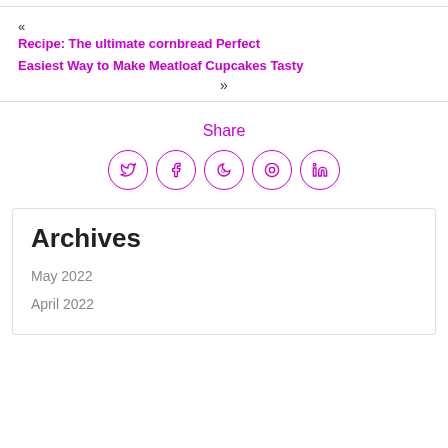« Recipe: The ultimate cornbread Perfect
Easiest Way to Make Meatloaf Cupcakes Tasty »
Share
[Figure (other): Social share icons: Twitter, Facebook, Google, Pinterest, LinkedIn]
Archives
May 2022
April 2022